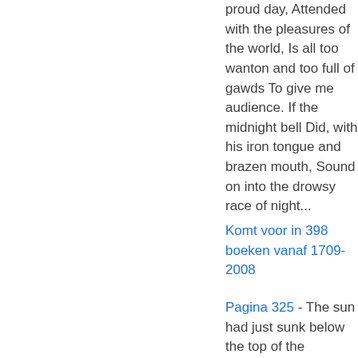proud day, Attended with the pleasures of the world, Is all too wanton and too full of gawds To give me audience. If the midnight bell Did, with his iron tongue and brazen mouth, Sound on into the drowsy race of night...
Komt voor in 398 boeken vanaf 1709-2008
Pagina 325 - The sun had just sunk below the top of the mountains she was descending, whose long shadow stretched athwart the valley ; but his sloping rays, shooting through an opening of the cliffs, touched with a yellow gleam the